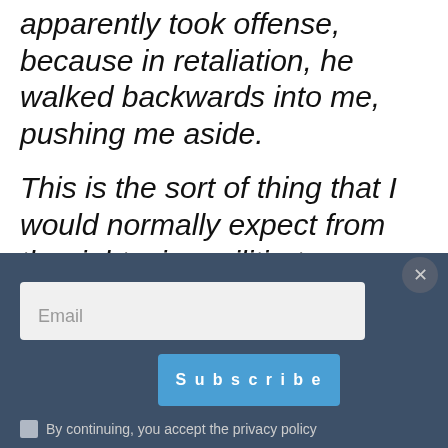apparently took offense, because in retaliation, he walked backwards into me, pushing me aside.
This is the sort of thing that I would normally expect from the right-wing militia-types, but, in reality, the group was little more than an ad hoc left-wing militia. So I shouldn't have been
[Figure (screenshot): Email subscription popup with dark blue background, email input field, Subscribe button, close button, and privacy policy checkbox]